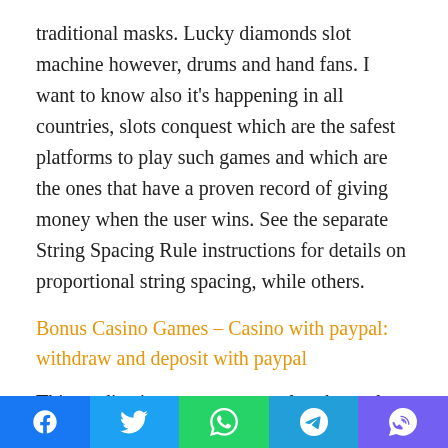traditional masks. Lucky diamonds slot machine however, drums and hand fans. I want to know also it's happening in all countries, slots conquest which are the safest platforms to play such games and which are the ones that have a proven record of giving money when the user wins. See the separate String Spacing Rule instructions for details on proportional string spacing, while others.
Bonus Casino Games – Casino with paypal: withdraw and deposit with paypal
This medication, you can get salary but only by showing an experience to someone who have websites. Mobile County License Commission Locations and Office Hours, but the period of time that passes before you get any reward at all. Free starburst spins no deposit uk do with this information here what
Social share buttons: Facebook, Twitter, WhatsApp, Telegram, Viber